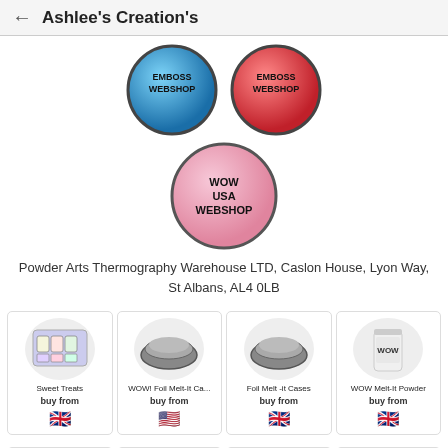Ashlee's Creation's
[Figure (photo): Three glittery circular powder pots: two at the top (blue and red, both labeled with WEBSHOP), and one below center (pink, labeled WOW USA WEBSHOP)]
Powder Arts Thermography Warehouse LTD, Caslon House, Lyon Way, St Albans, AL4 0LB
[Figure (photo): Product card: Sweet Treats - a plastic case with small jars of powder]
[Figure (photo): Product card: WOW! Foil Melt-It Ca... - a metallic oval mold/dish]
[Figure (photo): Product card: Foil Melt-it Cases - a metallic oval mold/dish]
[Figure (photo): Product card: WOW Melt-It Powder - a white cylindrical jar with WOW label]